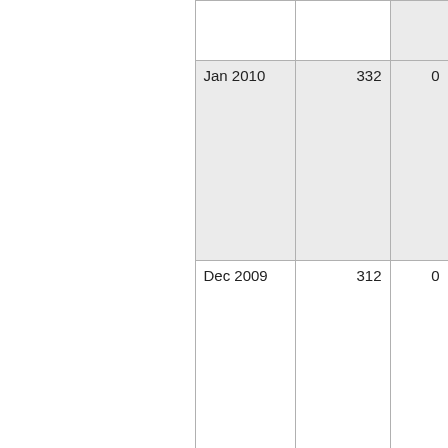|  |  |  |  |
| --- | --- | --- | --- |
|  |  |  |  |
| Jan 2010 | 332 | 0 |  |
| Dec 2009 | 312 | 0 |  |
| Nov 2009 | 495 | 0 |  |